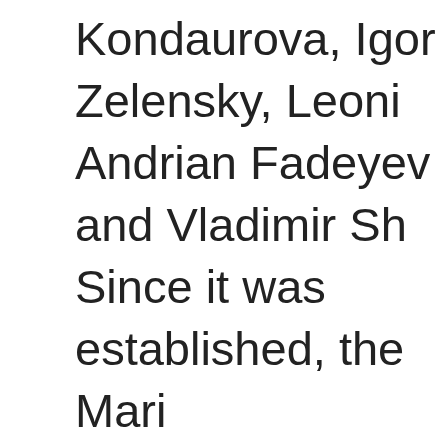Kondaurova, Igor Zelensky, Leoni Andrian Fadeyev and Vladimir Sh Since it was established, the Mari international ballet festival has see performances by such internationa acclaimed stars as Vladimir Malak Letestu, Aurélie Dupont, Mathieu G Roberto Bolle, Maria Kowroski, Ma Alina Cojocaru, Johan Kobborg, P